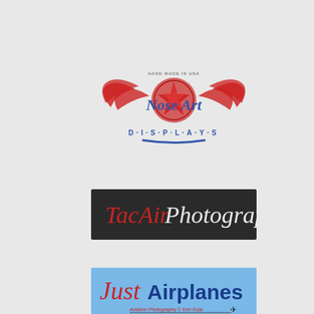[Figure (logo): Nose Art Displays logo — red wings spread wide with a red star-globe in center, 'Nose Art' in blue cursive script overlaid, 'DISPLAYS' in blue spaced capital letters below, 'HAND MADE IN USA' small text above]
[Figure (logo): TacAir Photography logo — dark charcoal/black rectangular banner with 'TacAir' in red italic handwritten style and 'Photography' in white italic handwritten style]
[Figure (logo): Just Airplanes logo — light blue rectangular banner with 'Just' in red cursive, 'Airplanes' in dark blue bold, 'Aviation Photography © Ken Kula' in small red text below with airplane silhouette on right]
[Figure (logo): Partially visible blue rectangular logo at bottom of page, appears to be an aviation-related logo]